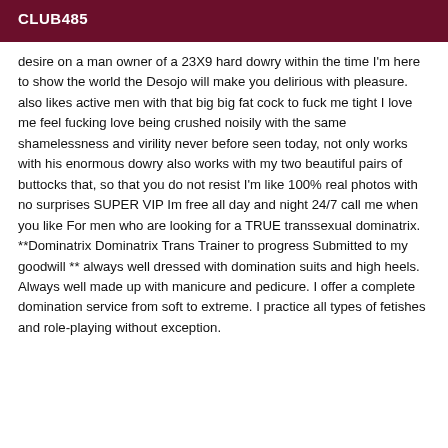CLUB485
desire on a man owner of a 23X9 hard dowry within the time I'm here to show the world the Desojo will make you delirious with pleasure. also likes active men with that big big fat cock to fuck me tight I love me feel fucking love being crushed noisily with the same shamelessness and virility never before seen today, not only works with his enormous dowry also works with my two beautiful pairs of buttocks that, so that you do not resist I'm like 100% real photos with no surprises SUPER VIP Im free all day and night 24/7 call me when you like For men who are looking for a TRUE transsexual dominatrix. **Dominatrix Dominatrix Trans Trainer to progress Submitted to my goodwill ** always well dressed with domination suits and high heels. Always well made up with manicure and pedicure. I offer a complete domination service from soft to extreme. I practice all types of fetishes and role-playing without exception.